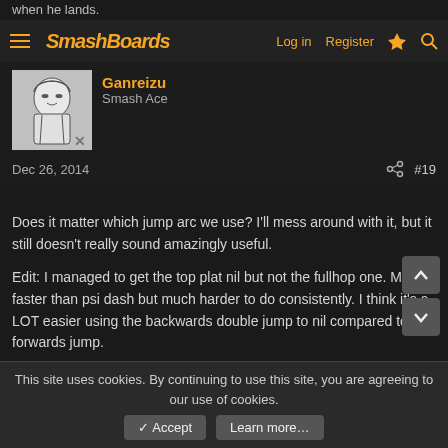when he lands.
SmashBoards — Log in  Register
[Figure (photo): User avatar for Ganreizu — manga-style black and white character illustration]
Ganreizu
Smash Ace
Dec 26, 2014   #19
Does it matter which jump arc we use? I'll mess around with it, but it still doesn't really sound amazingly useful.

Edit: I managed to get the top plat nil but not the fullhop one. Much faster than psi dash but much harder to do consistently. I think it's a LOT easier using the backwards double jump to nil compared to the forwards jump.
Last edited: Dec 26, 2014
[Figure (photo): User avatar for schmooblidon — cartoon character with red hair illustration]
schmooblidon
Smash Journeyman
This site uses cookies. By continuing to use this site, you are agreeing to our use of cookies.